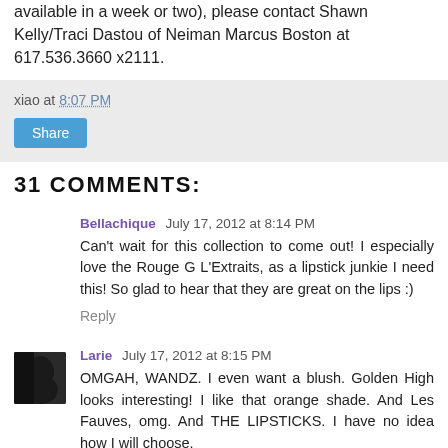available in a week or two), please contact Shawn Kelly/Traci Dastou of Neiman Marcus Boston at 617.536.3660 x2111.
xiao at 8:07 PM
31 COMMENTS:
Bellachique July 17, 2012 at 8:14 PM
Can't wait for this collection to come out! I especially love the Rouge G L'Extraits, as a lipstick junkie I need this! So glad to hear that they are great on the lips :)
Reply
Larie July 17, 2012 at 8:15 PM
OMGAH, WANDZ. I even want a blush. Golden High looks interesting! I like that orange shade. And Les Fauves, omg. And THE LIPSTICKS. I have no idea how I will choose.